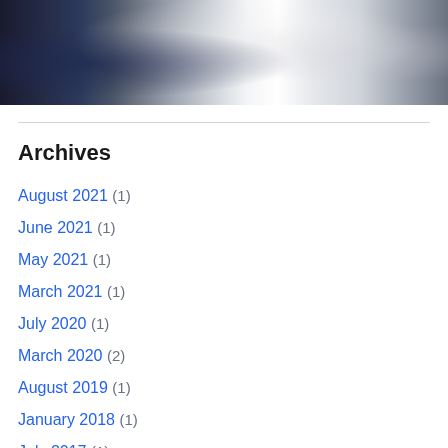[Figure (photo): A partial photo showing what appears to be a white sculptural form or mannequin against a dark background with jeans/denim visible]
Archives
August 2021 (1)
June 2021 (1)
May 2021 (1)
March 2021 (1)
July 2020 (1)
March 2020 (2)
August 2019 (1)
January 2018 (1)
July 2017 (1)
June 2016 (1)
March 2016 (1)